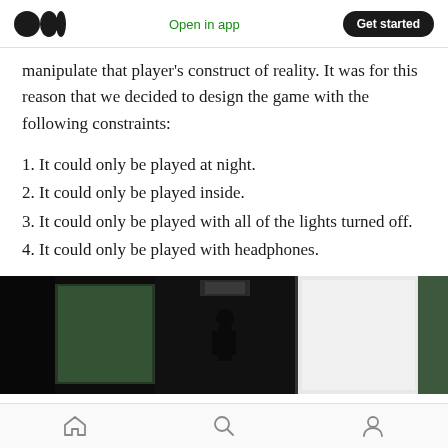Medium logo | Open in app | Get started
manipulate that player's construct of reality. It was for this reason that we decided to design the game with the following constraints:
1. It could only be played at night.
2. It could only be played inside.
3. It could only be played with all of the lights turned off.
4. It could only be played with headphones.
[Figure (photo): Dark indoor scene with a silhouetted figure, illuminated panels and a light source overhead]
Home | Search | Profile